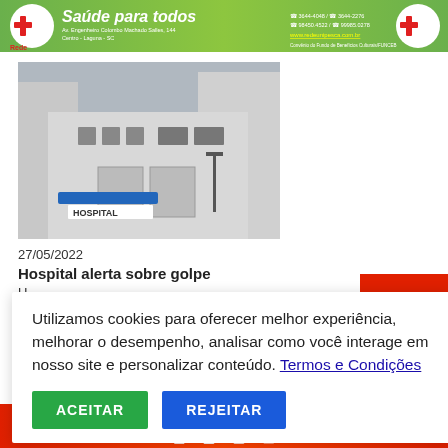[Figure (other): Rede Unip banner advertisement - green background with logo, 'Saúde para todos' text, contact info and website www.redeunipesca.com.br]
[Figure (photo): Exterior photograph of a hospital building, gray facade with 'HOSPITAL' sign visible above entrance]
27/05/2022
Hospital alerta sobre golpe
U
N
P
Utilizamos cookies para oferecer melhor experiência, melhorar o desempenho, analisar como você interage em nosso site e personalizar conteúdo. Termos e Condições
ACEITAR
REJEITAR